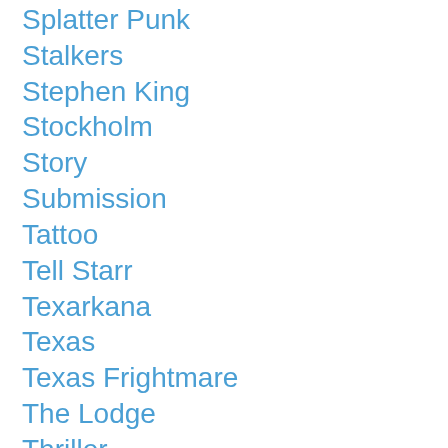Splatter Punk
Stalkers
Stephen King
Stockholm
Story
Submission
Tattoo
Tell Starr
Texarkana
Texas
Texas Frightmare
The Lodge
Thriller
Time Of Grace
Time Travel
Tombstone
Tombstone Arizona
True Crime
Vampire
Vampyre
Violence